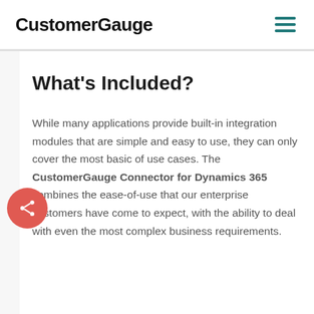CustomerGauge
What's Included?
While many applications provide built-in integration modules that are simple and easy to use, they can only cover the most basic of use cases. The CustomerGauge Connector for Dynamics 365 combines the ease-of-use that our enterprise customers have come to expect, with the ability to deal with even the most complex business requirements.